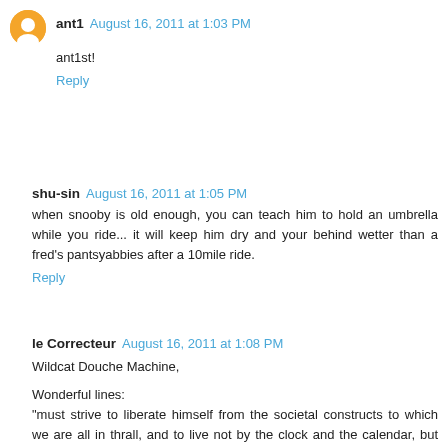ant1  August 16, 2011 at 1:03 PM
ant1st!
Reply
shu-sin  August 16, 2011 at 1:05 PM
when snooby is old enough, you can teach him to hold an umbrella while you ride... it will keep him dry and your behind wetter than a fred's pantsyabbies after a 10mile ride.
Reply
le Correcteur  August 16, 2011 at 1:08 PM
Wildcat Douche Machine,
Wonderful lines:
"must strive to liberate himself from the societal constructs to which we are all in thrall, and to live not by the clock and the calendar, but rather by the rhythms of nature and of Life